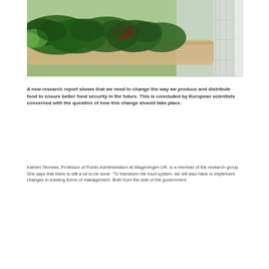[Figure (photo): Close-up photograph of fresh green leafy vegetables (kale, lettuce, and other greens) displayed in wicker baskets at a market stall, viewed from an angle along the row of baskets.]
A new research report shows that we need to change the way we produce and distribute food to ensure better food security in the future. This is concluded by European scientists concerned with the question of how this change should take place.
Katrien Termeer, Professor of Public Administration at Wageningen UR, is a member of the research group. She says that there is still a lot to be done: “To transform the food system, we will also have to implement changes in existing forms of management. Both from the side of the government